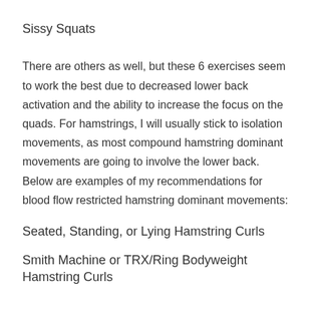Sissy Squats
There are others as well, but these 6 exercises seem to work the best due to decreased lower back activation and the ability to increase the focus on the quads. For hamstrings, I will usually stick to isolation movements, as most compound hamstring dominant movements are going to involve the lower back. Below are examples of my recommendations for blood flow restricted hamstring dominant movements:
Seated, Standing, or Lying Hamstring Curls
Smith Machine or TRX/Ring Bodyweight Hamstring Curls